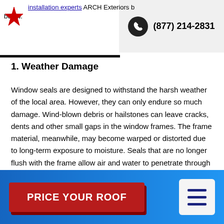installation experts ARCH Exteriors below.
(877) 214-2831
1. Weather Damage
Window seals are designed to withstand the harsh weather of the local area. However, they can only endure so much damage. Wind-blown debris or hailstones can leave cracks, dents and other small gaps in the window frames. The frame material, meanwhile, may become warped or distorted due to long-term exposure to moisture. Seals that are no longer flush with the frame allow air and water to penetrate through the windows and into your home.
PRICE YOUR ROOF